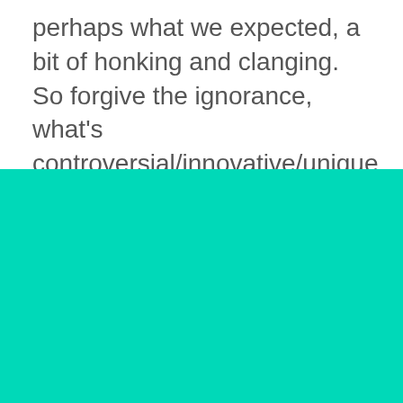perhaps what we expected, a bit of honking and clanging. So forgive the ignorance, what's controversial/innovative/unique about it (I'm reading from the sleeve notes here)? We enjoyed it and
[Figure (other): Solid teal/turquoise green background block filling the lower portion of the page]